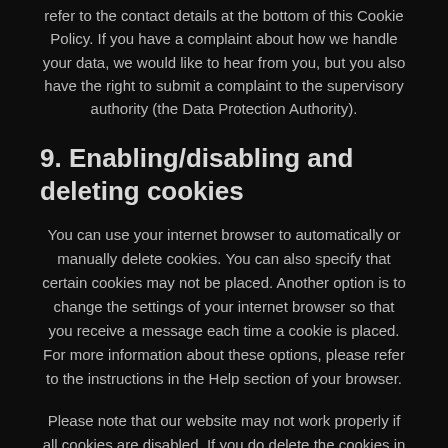refer to the contact details at the bottom of this Cookie Policy. If you have a complaint about how we handle your data, we would like to hear from you, but you also have the right to submit a complaint to the supervisory authority (the Data Protection Authority).
9. Enabling/disabling and deleting cookies
You can use your internet browser to automatically or manually delete cookies. You can also specify that certain cookies may not be placed. Another option is to change the settings of your internet browser so that you receive a message each time a cookie is placed. For more information about these options, please refer to the instructions in the Help section of your browser.
Please note that our website may not work properly if all cookies are disabled. If you do delete the cookies in your browser, they will be placed again after your